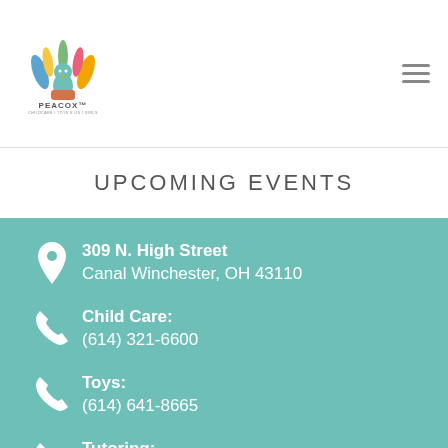[Figure (logo): Peacox logo with colorful hands/feathers graphic and PEACOX text below]
UPCOMING EVENTS
309 N. High Street
Canal Winchester, OH 43110
Child Care:
(614) 321-6600
Toys:
(614) 641-8665
Tutoring:
(614) 641-8650